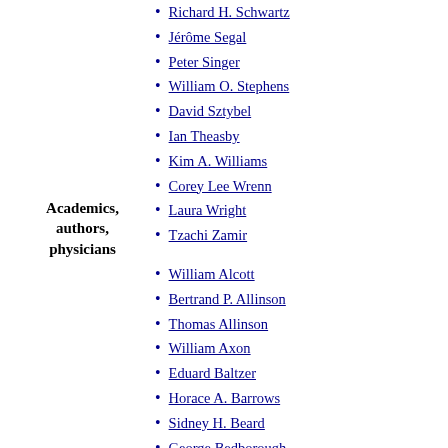Richard H. Schwartz
Jérôme Segal
Peter Singer
William O. Stephens
David Sztybel
Ian Theasby
Kim A. Williams
Corey Lee Wrenn
Laura Wright
Tzachi Zamir
Academics, authors, physicians
William Alcott
Bertrand P. Allinson
Thomas Allinson
William Axon
Eduard Baltzer
Horace A. Barrows
Sidney H. Beard
George Bedborough
Ernest Bell
Robert Bell
Ragnar Berg
Rynn Berry
Maximilian Bircher-Benner
Ernest Bonnejoy